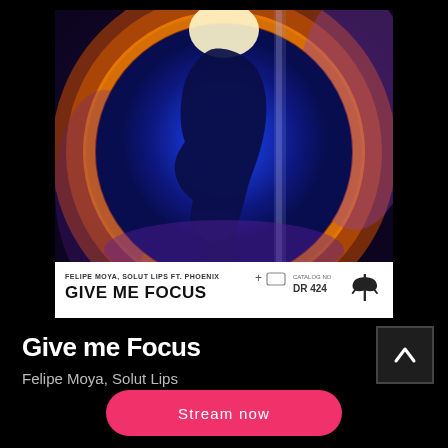[Figure (illustration): Music single cover art for 'Give Me Focus' by Felipe Moya, Solut Lips ft. Phoenix. A dark profile silhouette of a face inside a glowing blue circle with orange/gold flare edges. Below the artwork is a white label strip showing artist names, track title 'GIVE ME FOCUS', and catalog number DR 424 with a record label logo.]
Give me Focus
Felipe Moya, Solut Lips
Stream now